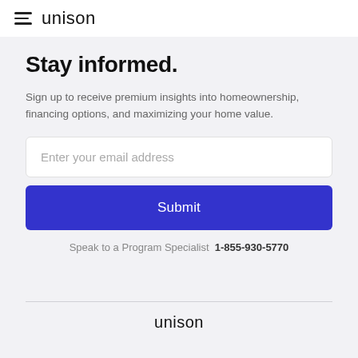unison
Stay informed.
Sign up to receive premium insights into homeownership, financing options, and maximizing your home value.
Enter your email address
Submit
Speak to a Program Specialist  1-855-930-5770
unison